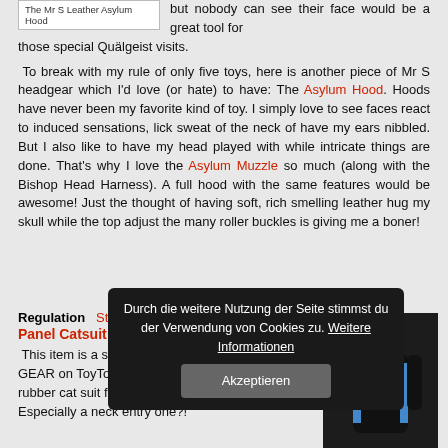[Figure (photo): Image box with caption 'The Mr S Leather Asylum Hood']
but nobody can see their face would be a great tool for those special Quälgeist visits.
To break with my rule of only five toys, here is another piece of Mr S headgear which I'd love (or hate) to have: The Asylum Hood. Hoods have never been my favorite kind of toy. I simply love to see faces react to induced sensations, lick sweat of the neck of have my ears nibbled. But I also like to have my head played with while intricate things are done. That's why I love the Asylum Muzzle so much (along with the Bishop Head Harness). A full hood with the same features would be awesome! Just the thought of having soft, rich smelling leather hug my skull while the top adjust the many roller buckles is giving me a boner!
Regulation   Streak   Side Panel Catsuit
This item is a shocker: Fetter GEAR on ToyTorture.com? A rubber cat suit for ToyTorture? Especially a neck entry one?!
[Figure (photo): Person wearing black rubber catsuit with blue side panels]
[Figure (screenshot): Cookie consent overlay: 'Durch die weitere Nutzung der Seite stimmst du der Verwendung von Cookies zu. Weitere Informationen' with Akzeptieren button]